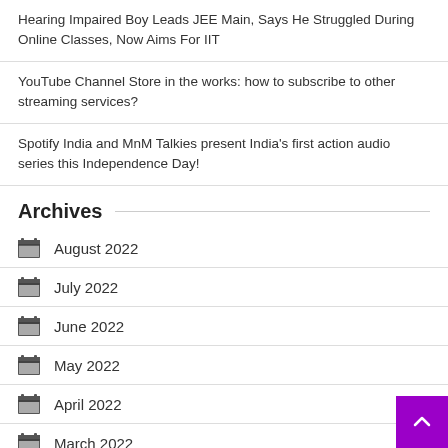Hearing Impaired Boy Leads JEE Main, Says He Struggled During Online Classes, Now Aims For IIT
YouTube Channel Store in the works: how to subscribe to other streaming services?
Spotify India and MnM Talkies present India's first action audio series this Independence Day!
Archives
August 2022
July 2022
June 2022
May 2022
April 2022
March 2022